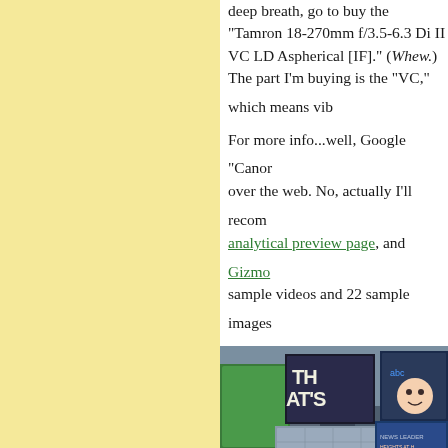deep breath, go to buy the "Tamron 18-270mm f/3.5-6.3 Di II VC LD Aspherical [IF]." (Whew.) The part I'm buying is the "VC," which means vibration control.
For more info...well, Google "Canon IS" and look over the web. No, actually I'll recommend this analytical preview page, and Gizmodo has 4 sample videos and 22 sample images.
[Figure (photo): Photo of NYPD mounted police officers with horses in Times Square, New York City. Officers in uniform stand with brown horses in foreground, large digital billboards and city buildings visible in background.]